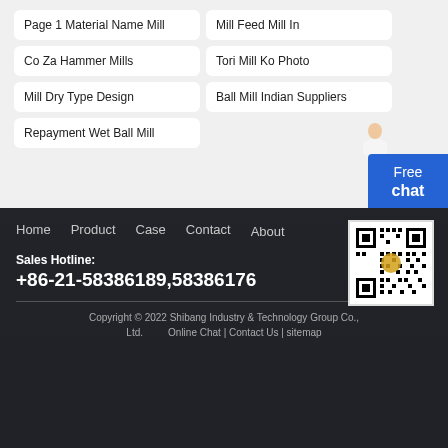Page 1 Material Name Mill
Mill Feed Mill In
Co Za Hammer Mills
Tori Mill Ko Photo
Mill Dry Type Design
Ball Mill Indian Suppliers
Repayment Wet Ball Mill
[Figure (screenshot): QR code for company website]
Home   Product   Case   Contact   About
Sales Hotline:
+86-21-58386189,58386176
Copyright © 2022 Shibang Industry & Technology Group Co., Ltd.   Online Chat | Contact Us | sitemap